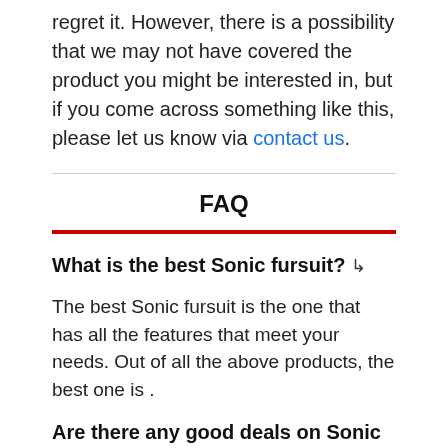regret it. However, there is a possibility that we may not have covered the product you might be interested in, but if you come across something like this, please let us know via contact us.
FAQ
What is the best Sonic fursuit? ↳
The best Sonic fursuit is the one that has all the features that meet your needs. Out of all the above products, the best one is .
Are there any good deals on Sonic fursuit? ↳
In this market, you won't find many offers. However, I picked the best Sonic fursuit from Amazon which has